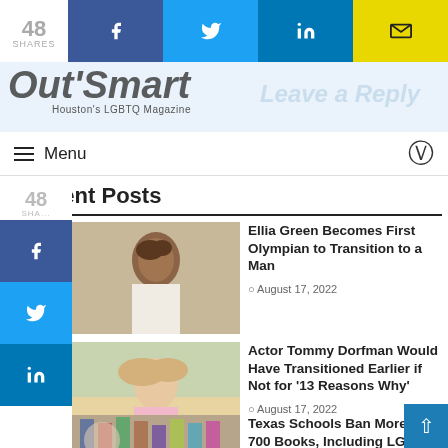48 SHARES | Facebook | Twitter | LinkedIn | Email
[Figure (logo): OutSmart Houston's LGBTQ Magazine logo with Leave a Reply text overlay]
Menu (hamburger icon) | Moon icon
Recent Posts
[Figure (photo): Portrait of Ellia Green, a Black man with curly hair wearing a white shirt]
Ellia Green Becomes First Olympian to Transition to a Man
August 17, 2022
[Figure (photo): Photo of Tommy Dorfman, a woman with blonde hair wearing a pink top, standing outdoors]
Actor Tommy Dorfman Would Have Transitioned Earlier if Not for '13 Reasons Why'
August 17, 2022
[Figure (photo): Photo related to Texas school book ban, showing books on shelves]
Texas Schools Ban More than 700 Books, Including LGBTQ Titles